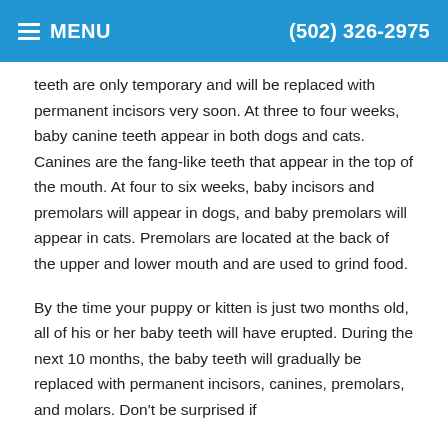≡ MENU   (502) 326-2975
teeth are only temporary and will be replaced with permanent incisors very soon. At three to four weeks, baby canine teeth appear in both dogs and cats. Canines are the fang-like teeth that appear in the top of the mouth. At four to six weeks, baby incisors and premolars will appear in dogs, and baby premolars will appear in cats. Premolars are located at the back of the upper and lower mouth and are used to grind food.
By the time your puppy or kitten is just two months old, all of his or her baby teeth will have erupted. During the next 10 months, the baby teeth will gradually be replaced with permanent incisors, canines, premolars, and molars. Don't be surprised if